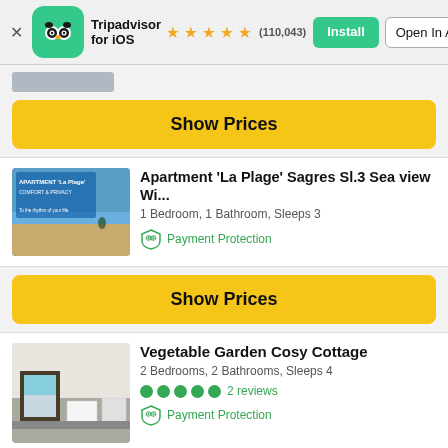Tripadvisor for iOS ★★★★½ (110,043) Install | Open In App
[Figure (screenshot): Partial listing image at top of scroll]
Show Prices
Apartment 'La Plage' Sagres Sl.3 Sea view Wi...
1 Bedroom, 1 Bathroom, Sleeps 3
Payment Protection
[Figure (photo): Apartment La Plage listing photo showing beach and text 'APARTMENT La Plage COMFORT & PRIVACY To the rhythm of your life']
Show Prices
Vegetable Garden Cosy Cottage
2 Bedrooms, 2 Bathrooms, Sleeps 4
2 reviews
Payment Protection
[Figure (photo): Vegetable Garden Cosy Cottage listing photo showing kitchen interior]